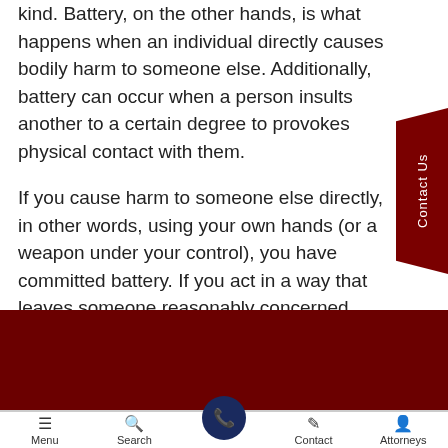kind. Battery, on the other hands, is what happens when an individual directly causes bodily harm to someone else. Additionally, battery can occur when a person insults another to a certain degree to provokes physical contact with them.

If you cause harm to someone else directly, in other words, using your own hands (or a weapon under your control), you have committed battery. If you act in a way that leaves someone reasonably concerned about
COVID 19 UPDATE
Recent Offic
Menu  Search  Contact  Attorneys